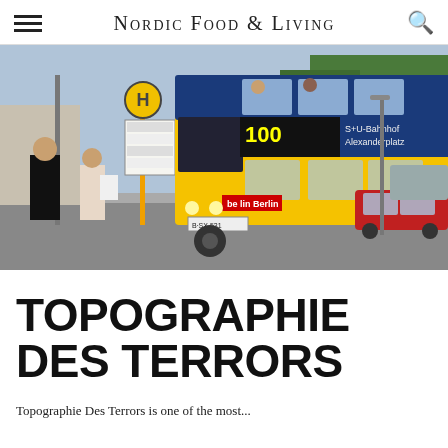Nordic Food & Living
[Figure (photo): A blue and yellow double-decker bus number 100 heading to S+U-Bahnhof Alexanderplatz at a Berlin bus stop. Pedestrians and a red car visible in background. Bus stop sign with 'H' symbol on the left.]
TOPOGRAPHIE DES TERRORS
Topographie Des Terrors is one of the most...